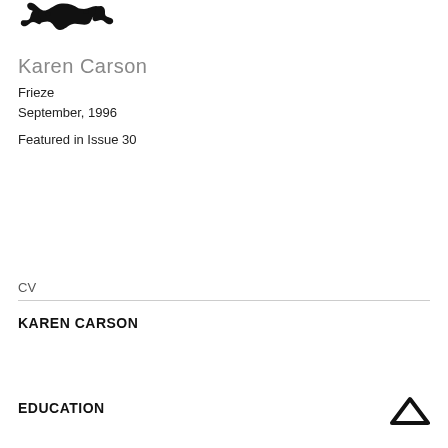[Figure (logo): Black decorative animal/creature logo mark at top left]
Karen Carson
Frieze
September, 1996
Featured in Issue 30
CV
KAREN CARSON
EDUCATION